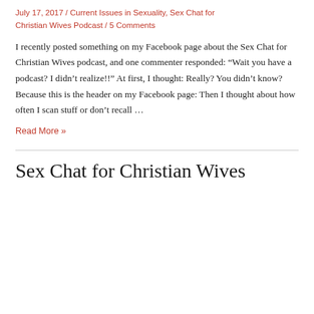July 17, 2017 / Current Issues in Sexuality, Sex Chat for Christian Wives Podcast / 5 Comments
I recently posted something on my Facebook page about the Sex Chat for Christian Wives podcast, and one commenter responded: “Wait you have a podcast? I didn’t realize!!” At first, I thought: Really? You didn’t know? Because this is the header on my Facebook page: Then I thought about how often I scan stuff or don’t recall …
Read More »
Sex Chat for Christian Wives